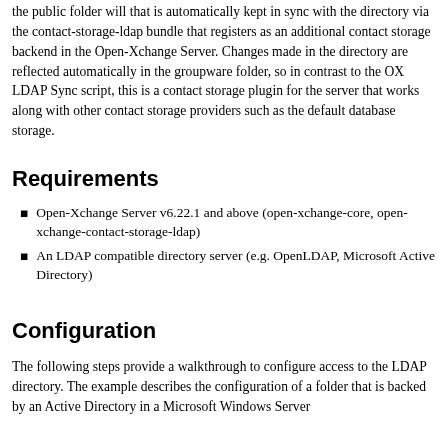the public folder will that is automatically kept in sync with the directory via the contact-storage-ldap bundle that registers as an additional contact storage backend in the Open-Xchange Server. Changes made in the directory are reflected automatically in the groupware folder, so in contrast to the OX LDAP Sync script, this is a contact storage plugin for the server that works along with other contact storage providers such as the default database storage.
Requirements
Open-Xchange Server v6.22.1 and above (open-xchange-core, open-xchange-contact-storage-ldap)
An LDAP compatible directory server (e.g. OpenLDAP, Microsoft Active Directory)
Configuration
The following steps provide a walkthrough to configure access to the LDAP directory. The example describes the configuration of a folder that is backed by an Active Directory in a Microsoft Windows Server